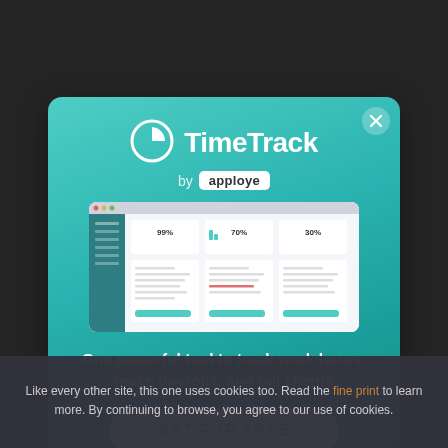Web Design (12)
Website builder (1)
[Figure (screenshot): TimeTrack by apploye modal advertisement popup with teal/cyan gradient background. Contains TimeTrack logo (clock icon + bold white text), 'by apploye' label, a dashboard screenshot, tagline 'One powerful tool to track work hours, make payrolls, and bill clients', and a white 'GET FOR FREE' button.]
Like every other site, this one uses cookies too. Read the fine print to learn more. By continuing to browse, you agree to our use of cookies.